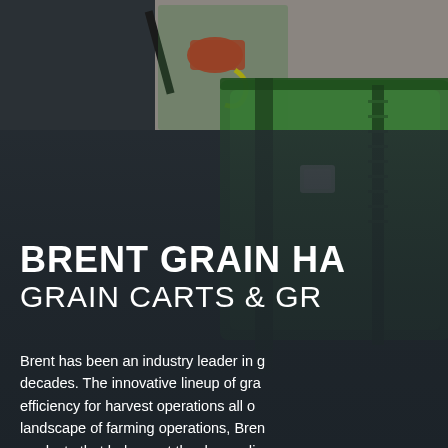[Figure (photo): Agricultural grain cart equipment (green Brent brand) shown against a dark background. Upper portion shows machinery with a tan/gray strip visible in the top right. A large green grain cart or grain handling equipment is visible with dark overlay covering much of the image.]
BRENT GRAIN HA... GRAIN CARTS & GR...
Brent has been an industry leader in g... decades. The innovative lineup of gra... efficiency for harvest operations all o... landscape of farming operations, Bren... products that help meet the demandi...